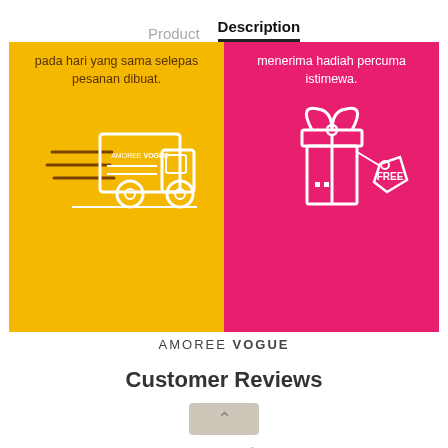Product   Description
[Figure (infographic): Two-panel infographic. Left panel (yellow): text 'pada hari yang sama selepas pesanan dibuat.' with a delivery truck icon and 'AMOREE VOGUE' label. Right panel (pink/magenta): text 'menerima hadiah percuma istimewa.' with a gift box icon with FREE tag. Below panels: 'AMOREE VOGUE' brand label.]
Customer Reviews
Categories
AMOREE SET